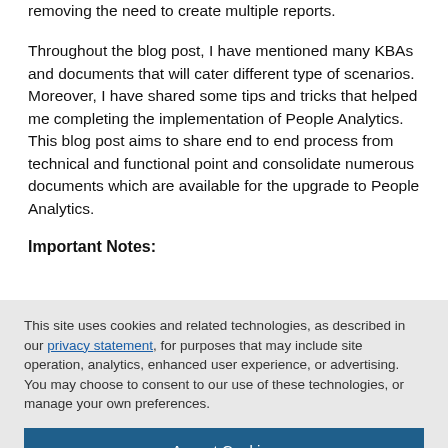removing the need to create multiple reports.
Throughout the blog post, I have mentioned many KBAs and documents that will cater different type of scenarios. Moreover, I have shared some tips and tricks that helped me completing the implementation of People Analytics. This blog post aims to share end to end process from technical and functional point and consolidate numerous documents which are available for the upgrade to People Analytics.
Important Notes:
This site uses cookies and related technologies, as described in our privacy statement, for purposes that may include site operation, analytics, enhanced user experience, or advertising. You may choose to consent to our use of these technologies, or manage your own preferences.
Accept Cookies
More Information
Privacy Policy | Powered by: TrustArc
demonstrates the step to integrate SF and IAS. You can also